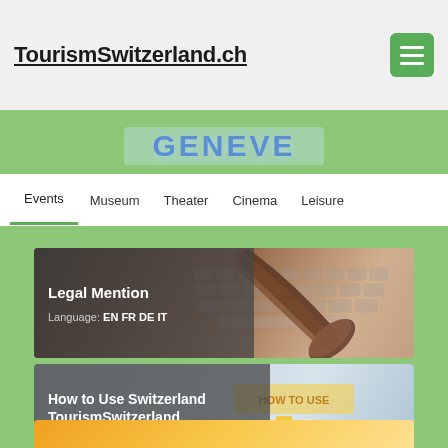TourismSwitzerland.ch
GENEVE
Events
Museum
Theater
Cinema
Leisure
[Figure (photo): Card with gavel on keyboard image, titled Legal Mention, with language links EN FR DE IT]
[Figure (photo): Card with How To Use image, titled How to Use Switzerland TourismSwitzerland, with language links EN FR DE IT]
[Figure (photo): Partial orange card at bottom of page]